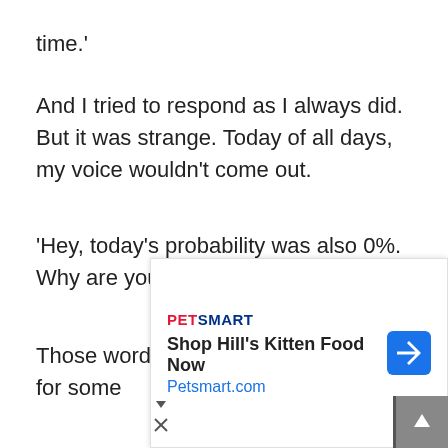time.'
And I tried to respond as I always did. But it was strange. Today of all days, my voice wouldn't come out.
'Hey, today's probability was also 0%. Why are you still in bed?'
Those words were caught on his nose for some [...]ght it, I co[...]
[Figure (other): PetSmart advertisement overlay: 'Shop Hill's Kitten Food Now' with Petsmart.com URL and PetSmart logo, with navigation arrow icon]